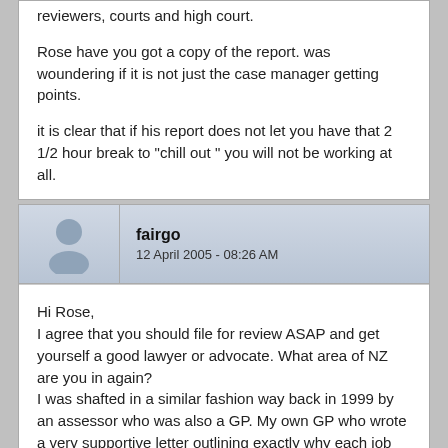reviewers, courts and high court.

Rose have you got a copy of the report. was woundering if it is not just the case manager getting points.

it is clear that if his report does not let you have that 2 1/2 hour break to "chill out " you will not be working at all.
fairgo
12 April 2005 - 08:26 AM
Hi Rose,
I agree that you should file for review ASAP and get yourself a good lawyer or advocate. What area of NZ are you in again?
I was shafted in a similar fashion way back in 1999 by an assessor who was also a GP. My own GP who wrote a very supportive letter outlining exactly why each job was not medically sustainable. I also lodged a reveiw at the same time and lo and behold ACC withdraw their decision based on the assessors' report. Didn't mean they left me alone but at least I earned some breathing space to learn exactly what the whole shafting procedure was about.......
Get your GP to support you in writing and lodge a review.